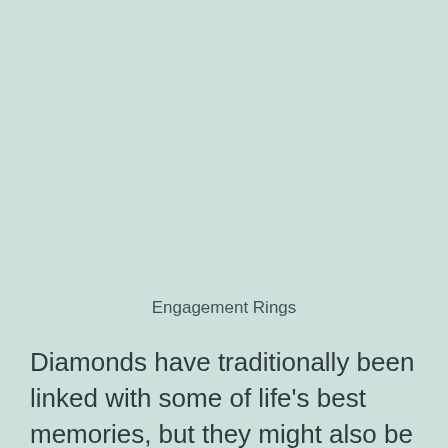Engagement Rings
Diamonds have traditionally been linked with some of life's best memories, but they might also be the cause of a great deal of pain for